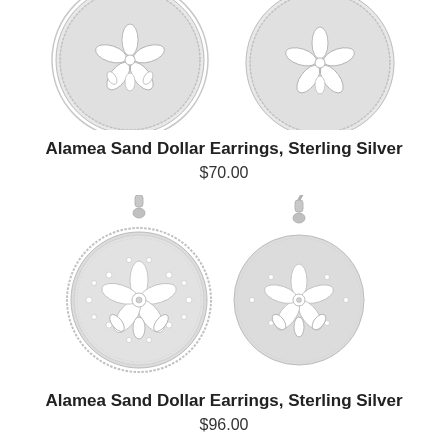[Figure (photo): Top portion of two sterling silver sand dollar earrings (stud style), showing the circular sand dollar pendants with floral/petal patterns, partially cropped at top of page]
Alamea Sand Dollar Earrings, Sterling Silver
$70.00
[Figure (photo): Two sterling silver sand dollar drop earrings with fish-hook style ear wires. The circular pendants feature detailed pave crystal/CZ studded surfaces with a central flower petal pattern and cut-out sections.]
Alamea Sand Dollar Earrings, Sterling Silver
$96.00